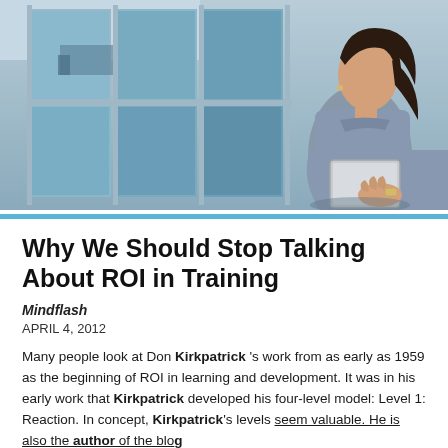[Figure (photo): A woman in a blue-grey short-sleeve button shirt holding a tablet, standing in front of a building with large glass windows and a blue reflection of a truck. She has dark hair pulled back and is wearing a gold watch.]
Why We Should Stop Talking About ROI in Training
Mindflash
APRIL 4, 2012
Many people look at Don Kirkpatrick 's work from as early as 1959 as the beginning of ROI in learning and development. It was in his early work that Kirkpatrick developed his four-level model: Level 1: Reaction. In concept, Kirkpatrick's levels seem valuable. He is also the author of the blog...